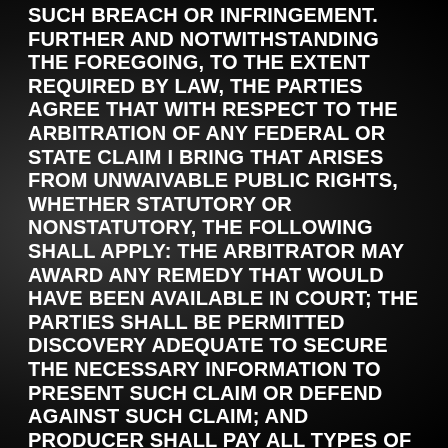SUCH BREACH OR INFRINGEMENT. FURTHER AND NOTWITHSTANDING THE FOREGOING, TO THE EXTENT REQUIRED BY LAW, THE PARTIES AGREE THAT WITH RESPECT TO THE ARBITRATION OF ANY FEDERAL OR STATE CLAIM I BRING THAT ARISES FROM UNWAIVABLE PUBLIC RIGHTS, WHETHER STATUTORY OR NONSTATUTORY, THE FOLLOWING SHALL APPLY: THE ARBITRATOR MAY AWARD ANY REMEDY THAT WOULD HAVE BEEN AVAILABLE IN COURT; THE PARTIES SHALL BE PERMITTED DISCOVERY ADEQUATE TO SECURE THE NECESSARY INFORMATION TO PRESENT SUCH CLAIM OR DEFEND AGAINST SUCH CLAIM; AND PRODUCER SHALL PAY ALL TYPES OF COSTS THAT ARE UNIQUE TO ARBITRATION.
15. SEVERABILITY. The illegality, invalidity or unenforceability of any provision of this Application & Release shall in no way